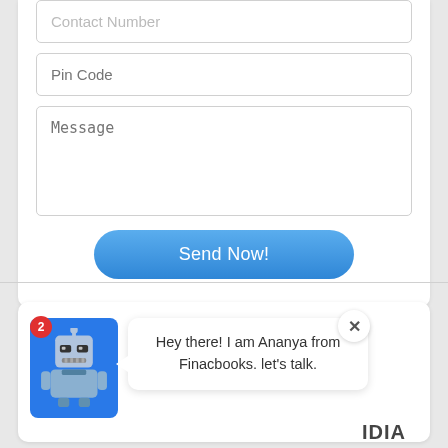[Figure (screenshot): Contact form input field with placeholder text 'Contact Number']
[Figure (screenshot): Form input field with placeholder text 'Pin Code']
[Figure (screenshot): Textarea with placeholder text 'Message']
[Figure (screenshot): Blue rounded button labeled 'Send Now!']
[Figure (screenshot): Chat widget showing robot avatar with badge '2', close button 'x', speech bubble saying 'Hey there! I am Ananya from Finacbooks. let's talk.' and partial text 'IDIA']